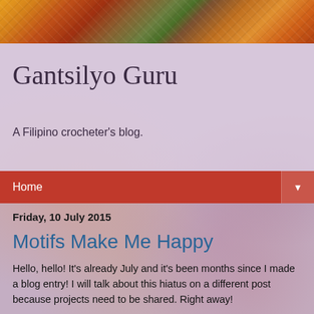[Figure (photo): Top strip showing colorful crochet motifs in yellow, orange, red, and green tones]
Gantsilyo Guru
A Filipino crocheter's blog.
Home ▼
Friday, 10 July 2015
Motifs Make Me Happy
Hello, hello! It's already July and it's been months since I made a blog entry! I will talk about this hiatus on a different post because projects need to be shared. Right away!
I have been busy decorating a "special place." As some of you might know, I am quite fond of crocheting motifs. I use them mostly to make accessories and home accents. The motif pattern I recently undertook wasn't new to me. I actually made earrings with it, using DMC Pearl Cotton